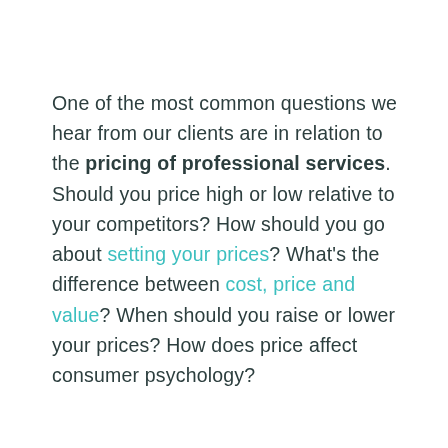One of the most common questions we hear from our clients are in relation to the pricing of professional services. Should you price high or low relative to your competitors? How should you go about setting your prices? What's the difference between cost, price and value? When should you raise or lower your prices? How does price affect consumer psychology?